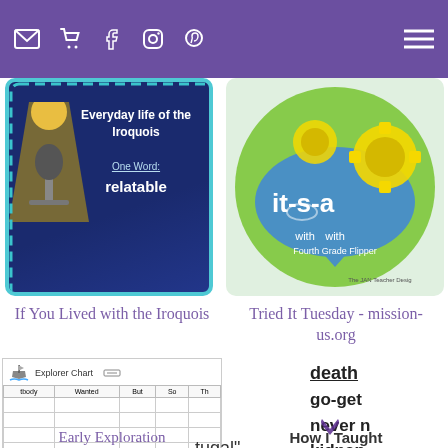Navigation bar with email, cart, Facebook, Instagram, Pinterest icons and hamburger menu
[Figure (illustration): Book cover for 'If You Lived with the Iroquois' with dark blue background, spotlight, teal border, text: Everyday life of the Iroquois, One Word: relatable]
[Figure (illustration): Tried It Tuesday logo with gears and 'Fourth Grade Flipper' text on green/blue background]
If You Lived with the Iroquois
Tried It Tuesday - mission-us.org
[Figure (table-as-image): Explorer Chart worksheet with columns: tbody, Wanted, But, So, Th and empty rows for student entries. Includes ship icon at top.]
tugal"
death
go-get
never n
kidnap
proud
no em
later ir
Early Exploration
How I Taught